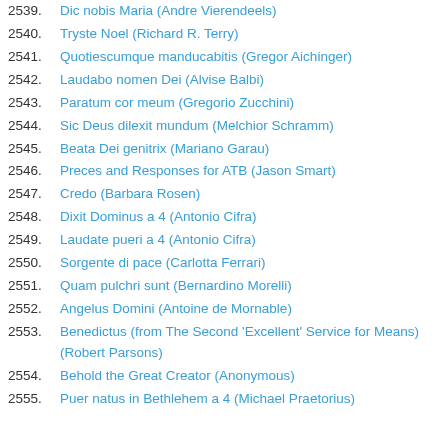2539. Dic nobis Maria (Andre Vierendeels)
2540. Tryste Noel (Richard R. Terry)
2541. Quotiescumque manducabitis (Gregor Aichinger)
2542. Laudabo nomen Dei (Alvise Balbi)
2543. Paratum cor meum (Gregorio Zucchini)
2544. Sic Deus dilexit mundum (Melchior Schramm)
2545. Beata Dei genitrix (Mariano Garau)
2546. Preces and Responses for ATB (Jason Smart)
2547. Credo (Barbara Rosen)
2548. Dixit Dominus a 4 (Antonio Cifra)
2549. Laudate pueri a 4 (Antonio Cifra)
2550. Sorgente di pace (Carlotta Ferrari)
2551. Quam pulchri sunt (Bernardino Morelli)
2552. Angelus Domini (Antoine de Mornable)
2553. Benedictus (from The Second 'Excellent' Service for Means) (Robert Parsons)
2554. Behold the Great Creator (Anonymous)
2555. Puer natus in Bethlehem a 4 (Michael Praetorius)